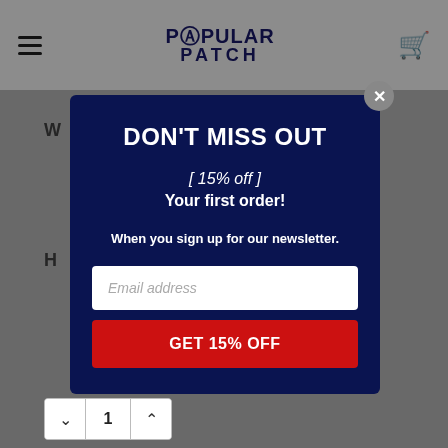Popular Patch
[Figure (screenshot): Website screenshot with modal popup overlay. Background shows Popular Patch e-commerce site in greyed state. Modal on dark navy blue background contains promotional offer text.]
DON'T MISS OUT
[ 15% off ]
Your first order!
When you sign up for our newsletter.
Email address
GET 15% OFF